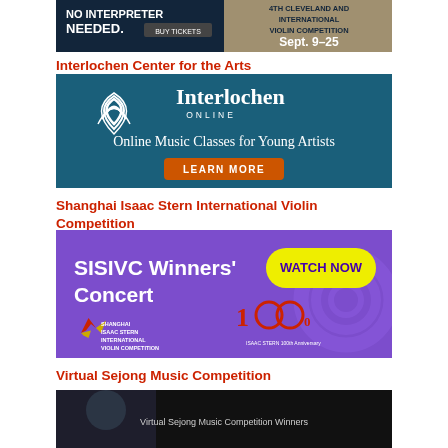[Figure (illustration): Top advertisement banner — dark background with text 'NO INTERPRETER NEEDED. BUY TICKETS' on left and 'INTERNATIONAL VIOLIN COMPETITION Sept. 9–25' on right]
Interlochen Center for the Arts
[Figure (illustration): Interlochen Online advertisement — teal/dark blue background with Interlochen logo, text 'Online Music Classes for Young Artists' and orange 'LEARN MORE' button]
Shanghai Isaac Stern International Violin Competition
[Figure (illustration): SISIVC advertisement — purple background with text 'SISIVC Winners Concert', yellow 'WATCH NOW' button, Shanghai Isaac Stern International Violin Competition logo and 100th anniversary logo]
Virtual Sejong Music Competition
[Figure (photo): Bottom advertisement banner for Virtual Sejong Music Competition — dark background with partially visible text]